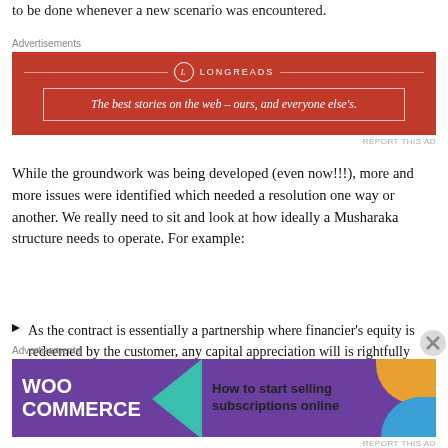to be done whenever a new scenario was encountered.
[Figure (other): Longreads advertisement banner — red background with Longreads logo and tagline: 'The best stories on the web – ours, and everyone else's.']
While the groundwork was being developed (even now!!!), more and more issues were identified which needed a resolution one way or another. We really need to sit and look at how ideally a Musharaka structure needs to operate. For example:
As the contract is essentially a partnership where financier's equity is redeemed by the customer, any capital appreciation will is rightfully owned by both parties according to the equity participation. In events of disposal or default of the financing and the
[Figure (other): WooCommerce advertisement banner — purple background with WooCommerce logo, teal arrow/triangle, text: 'How to start selling subscriptions online', with orange and blue decorative shapes.]